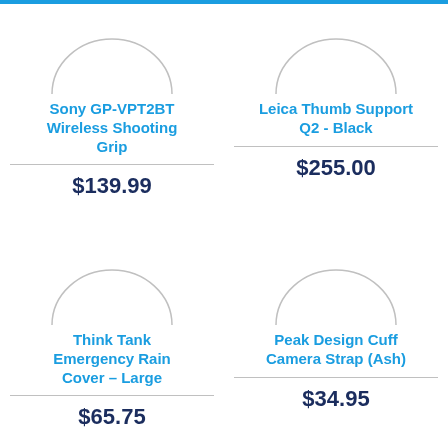[Figure (photo): Partial circle product image placeholder for Sony GP-VPT2BT Wireless Shooting Grip]
Sony GP-VPT2BT Wireless Shooting Grip
$139.99
[Figure (photo): Partial circle product image placeholder for Leica Thumb Support Q2 - Black]
Leica Thumb Support Q2 - Black
$255.00
[Figure (photo): Partial circle product image placeholder for Think Tank Emergency Rain Cover – Large]
Think Tank Emergency Rain Cover – Large
$65.75
[Figure (photo): Partial circle product image placeholder for Peak Design Cuff Camera Strap (Ash)]
Peak Design Cuff Camera Strap (Ash)
$34.95